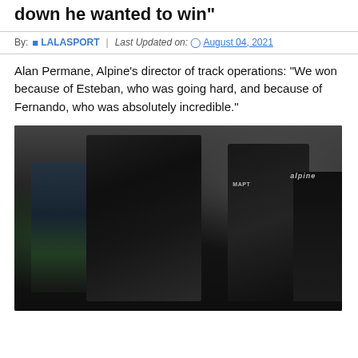down he wanted to win"
By: LALASPORT | Last Updated on: August 04, 2021
Alan Permane, Alpine's director of track operations: "We won because of Esteban, who was going hard, and because of Fernando, who was absolutely incredible."
[Figure (photo): Alpine F1 team members and a driver in helmet on the pit lane or grid, wearing black Alpine team uniforms with MAPFRE and other sponsor logos. People appear to be embracing or celebrating. Tattoos visible on forearms in foreground.]